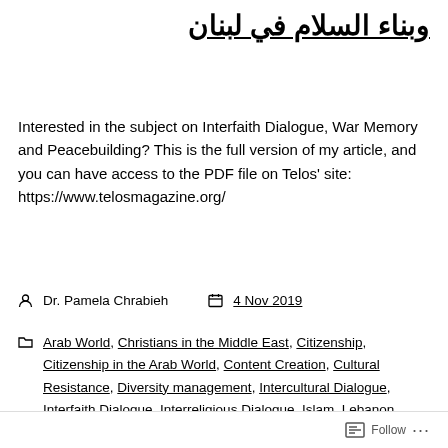وبناء السلام في لبنان
Interested in the subject on Interfaith Dialogue, War Memory and Peacebuilding? This is the full version of my article, and you can have access to the PDF file on Telos' site: https://www.telosmagazine.org/
Dr. Pamela Chrabieh   4 Nov 2019
Arab World, Christians in the Middle East, Citizenship, Citizenship in the Arab World, Content Creation, Cultural Resistance, Diversity management, Intercultural Dialogue, Interfaith Dialogue, Interreligious Dialogue, Islam, Lebanon, Middle Eastern Studies, Peace Education, Peacebuilding, Politics, Religions,
Follow